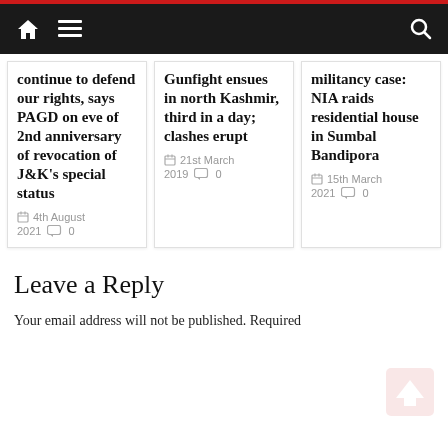Navigation bar with home icon, menu icon, and search icon
continue to defend our rights, says PAGD on eve of 2nd anniversary of revocation of J&K's special status
4th August 2021  0
Gunfight ensues in north Kashmir, third in a day; clashes erupt
21st March 2019  0
militancy case: NIA raids residential house in Sumbal Bandipora
15th March 2021  0
Leave a Reply
Your email address will not be published. Required